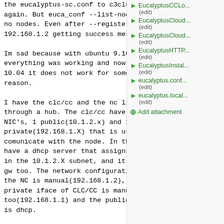the eucalyptus-sc.conf to c3cluster1 again. But euca_conf --list-nodes show no nodes. Even after --register-nodes 192.168.1.2 getting success message.

Im sad because with ubuntu 9.10 everything was working and now with 10.04 it does not work for some unknow reason.

I have the clc/cc and the nc linked through a hub. The clc/cc have 2 NIC's, 1 public(10.1.2.x) and 1 private(192.168.1.X) that is used to comunicate with the node. In the hub i have a dhcp server that assigns IP's in the 10.1.2.X subnet, and it is the gw too. The network configuration in the NC is manual(192.168.1.2), in the private iface of CLC/CC is manual too(192.168.1.1) and the public iface is dhcp.

Below goes all my logs and conf files, if with this you cant help me, there
EucalyptusCCLo... (edit)
EucalyptusCloud... (edit)
EucalyptusCloud... (edit)
EucalyptusHTTP... (edit)
EucalyptusInstal... (edit)
eucalyptus.conf... (edit)
eucalyptus.local... (edit)
Add attachment